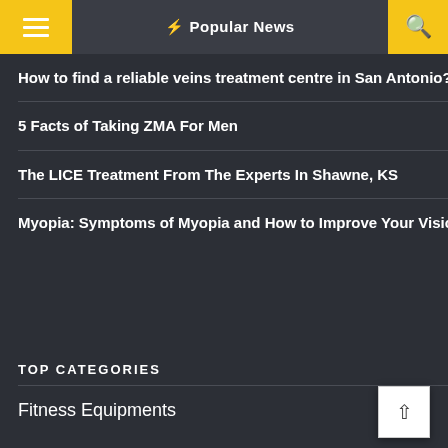≡  ⚡ Popular News  🔍
How to find a reliable veins treatment centre in San Antonio?
5 Facts of Taking ZMA For Men
The LICE Treatment From The Experts In Shawne, KS
Myopia: Symptoms of Myopia and How to Improve Your Vision
TOP CATEGORIES
Fitness Equipments